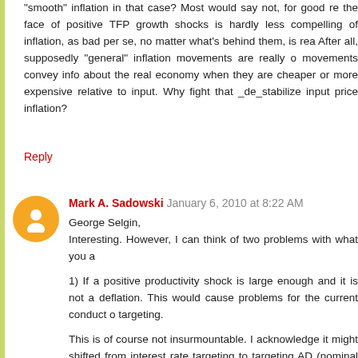"smooth" inflation in that case? Most would say not, for good re the face of positive TFP growth shocks is hardly less compelling of inflation, as bad per se, no matter what's behind them, is rea After all, supposedly "general" inflation movements are really o movements convey info about the real economy when they are cheaper or more expensive relative to input. Why fight that _de_stabilize input price inflation?
Reply
Mark A. Sadowski  January 6, 2010 at 8:22 AM
George Selgin,
Interesting. However, I can think of two problems with what you a
1) If a positive productivity shock is large enough and it is not a deflation. This would cause problems for the current conduct o targeting.
This is of course not insurmountable. I acknowledge it might shifted from interest rate targeting to targeting AD (nominal G things currently are run at the Federal Reserve (or anywhere els
2) I also have concerns about the stickiness of wages. If a pos not accomodated by faster AD growth then this could lead t